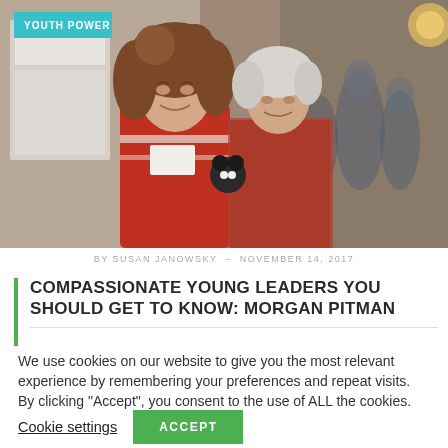[Figure (photo): Two women posing together at an event. A younger woman with curly hair in a red top and an older woman in a red outfit. People visible in background with display boards.]
BY SUSAN JANOWSKY — NOVEMBER 14, 2017
COMPASSIONATE YOUNG LEADERS YOU SHOULD GET TO KNOW: MORGAN PITMAN
We use cookies on our website to give you the most relevant experience by remembering your preferences and repeat visits. By clicking "Accept", you consent to the use of ALL the cookies.
Cookie settings  ACCEPT